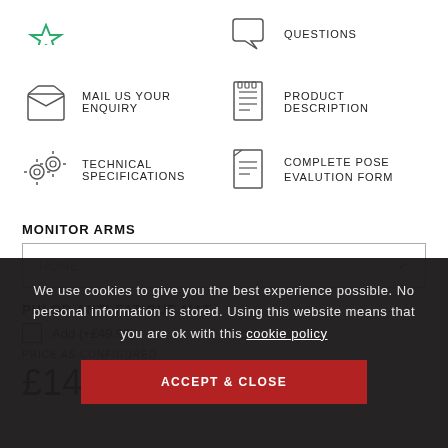[Figure (screenshot): Website screenshot with navigation icons and product configuration UI]
QUESTIONS
[Figure (illustration): Speech bubble icon]
MAIL US YOUR ENQUIRY
[Figure (illustration): Envelope/mail icon]
PRODUCT DESCRIPTION
[Figure (illustration): Document/list icon]
TECHNICAL SPECIFICATIONS
[Figure (illustration): Gear/settings icon]
COMPLETE POSE EVALUTION FORM
[Figure (illustration): Document icon]
MONITOR ARMS
NONE
PHLOR ANTI-FATIGUE MAT
Add (+£49.99)
PRICE AS CONFIGURED
£145.83 (ex. Vat)
We use cookies to give you the best experience possible. No personal information is stored. Using this website means that you are ok with this cookie policy
ACCEPT & CLOSE